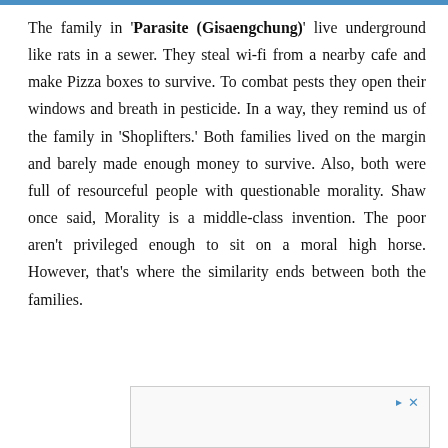The family in 'Parasite (Gisaengchung)' live underground like rats in a sewer. They steal wi-fi from a nearby cafe and make Pizza boxes to survive. To combat pests they open their windows and breath in pesticide. In a way, they remind us of the family in 'Shoplifters.' Both families lived on the margin and barely made enough money to survive. Also, both were full of resourceful people with questionable morality. Shaw once said, Morality is a middle-class invention. The poor aren't privileged enough to sit on a moral high horse. However, that's where the similarity ends between both the families.
[Figure (other): Advertisement placeholder box with navigation arrows icon in top right corner]